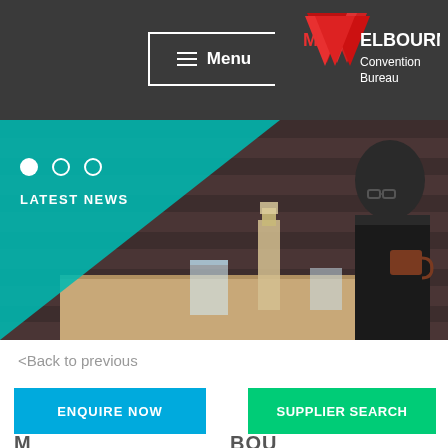Menu | Melbourne Convention Bureau
[Figure (screenshot): Website screenshot of Melbourne Convention Bureau page showing hero image of man at cafe with coffee, teal geometric overlay, Latest News section with carousel dots, navigation menu button, and logo]
LATEST NEWS
<Back to previous
ENQUIRE NOW
SUPPLIER SEARCH
Melbourne Convention Bureau (partial text at bottom)